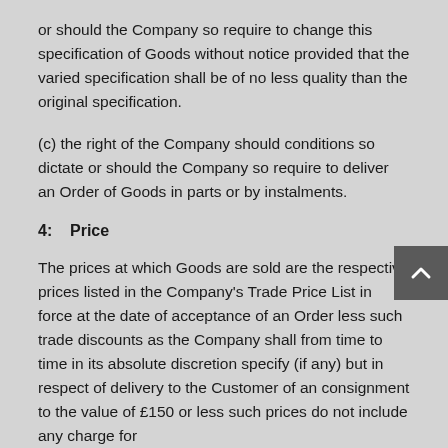or should the Company so require to change this specification of Goods without notice provided that the varied specification shall be of no less quality than the original specification.
(c) the right of the Company should conditions so dictate or should the Company so require to deliver an Order of Goods in parts or by instalments.
4:   Price
The prices at which Goods are sold are the respective prices listed in the Company's Trade Price List in force at the date of acceptance of an Order less such trade discounts as the Company shall from time to time in its absolute discretion specify (if any) but in respect of delivery to the Customer of an consignment to the value of £150 or less such prices do not include any charge for